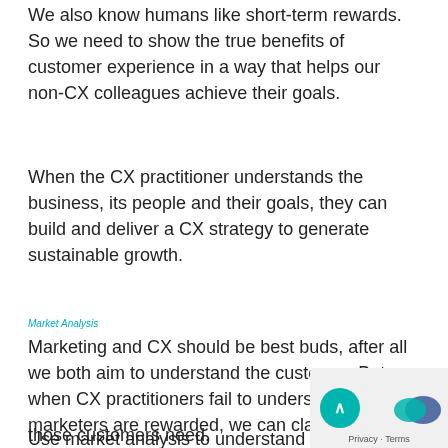We also know humans like short-term rewards. So we need to show the true benefits of customer experience in a way that helps our non-CX colleagues achieve their goals.
When the CX practitioner understands the business, its people and their goals, they can build and deliver a CX strategy to generate sustainable growth.
Market Analysis
Marketing and CX should be best buds, after all we both aim to understand the customer. But when CX practitioners fail to understand the way marketers are rewarded, we can clash.
Use market analysis to understand the direction the business wants to take, the customers it values and those customers need.